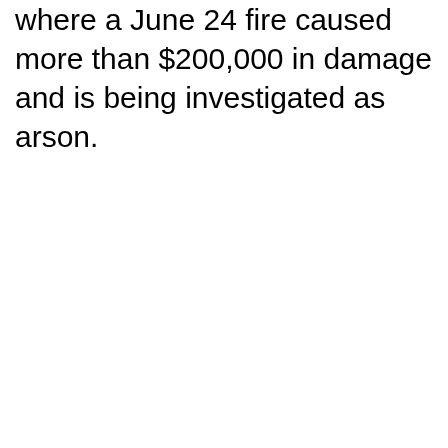where a June 24 fire caused more than $200,000 in damage and is being investigated as arson.